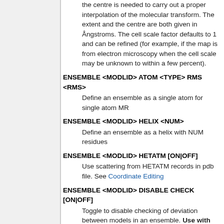the centre is needed to carry out a proper interpolation of the molecular transform. The extent and the centre are both given in Ångstroms. The cell scale factor defaults to 1 and can be refined (for example, if the map is from electron microscopy when the cell scale may be unknown to within a few percent).
ENSEMBLE <MODLID> ATOM <TYPE> RMS <RMS>
Define an ensemble as a single atom for single atom MR
ENSEMBLE <MODLID> HELIX <NUM>
Define an ensemble as a helix with NUM residues
ENSEMBLE <MODLID> HETATM [ON|OFF]
Use scattering from HETATM records in pdb file. See Coordinate Editing
ENSEMBLE <MODLID> DISABLE CHECK [ON|OFF]
Toggle to disable checking of deviation between models in an ensemble. Use with extreme caution. Results of computations